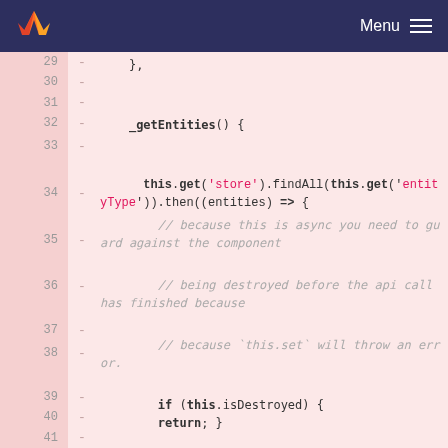GitLab — Menu
[Figure (screenshot): Code diff view showing lines 29-41 of JavaScript code on a pink/red background, showing a _getEntities() function with this.get(), findAll(), then(), if(this.isDestroyed), and this.set() calls. All lines are marked as deleted with '-' diff markers.]